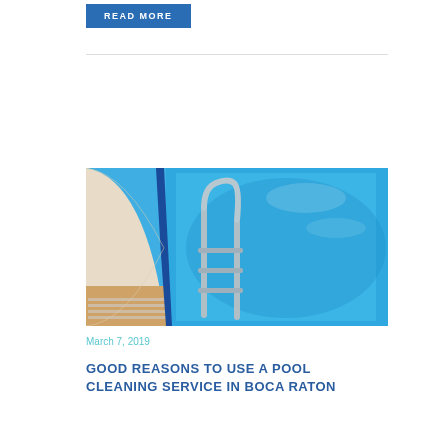READ MORE
[Figure (photo): Overhead view of a swimming pool with blue mosaic tile water, steel ladder handrails, and tiled pool deck surround]
March 7, 2019
GOOD REASONS TO USE A POOL CLEANING SERVICE IN BOCA RATON